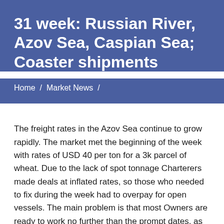31 week: Russian River, Azov Sea, Caspian Sea; Coaster shipments
Home / Market News /
The freight rates in the Azov Sea continue to grow rapidly. The market met the beginning of the week with rates of USD 40 per ton for a 3k parcel of wheat. Due to the lack of spot tonnage Charterers made deals at inflated rates, so those who needed to fix during the week had to overpay for open vessels. The main problem is that most Owners are ready to work no further than the prompt dates, as they do not want to lose money on the growing market.